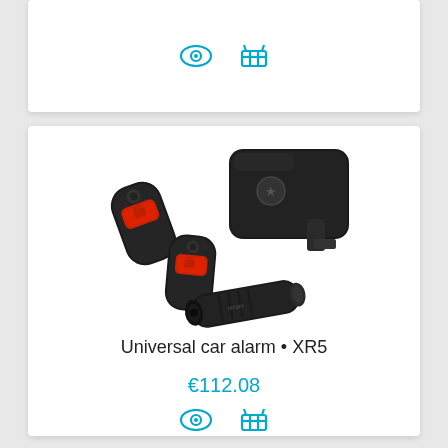[Figure (other): Top card showing eye icon and shopping cart icon in cyan/teal color]
[Figure (photo): Product photo of Universal car alarm XR5 set: two black key fobs with red buttons, a black siren/horn unit with mounting bracket, and a small black cylinder (LED indicator or sensor)]
Universal car alarm • XR5
€112.08
[Figure (other): Eye icon and shopping cart icon in cyan/teal color]